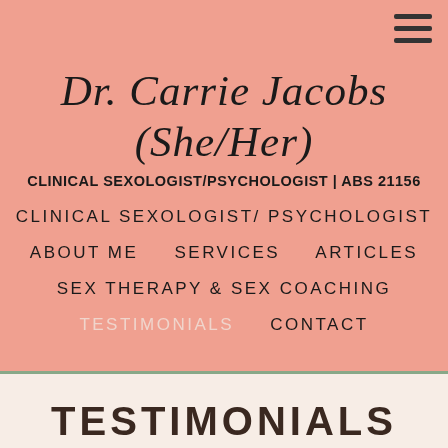Dr. Carrie Jacobs (She/Her)
CLINICAL SEXOLOGIST/PSYCHOLOGIST | ABS 21156
CLINICAL SEXOLOGIST/ PSYCHOLOGIST
ABOUT ME   SERVICES   ARTICLES
SEX THERAPY & SEX COACHING
TESTIMONIALS   CONTACT
TESTIMONIALS